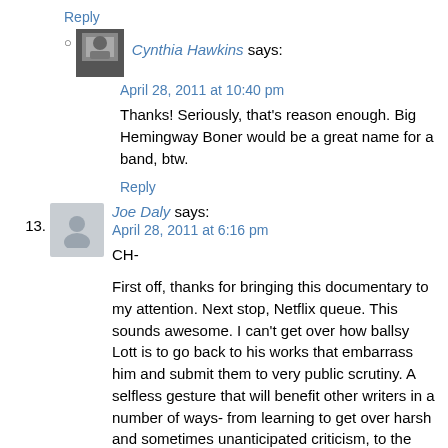Reply
Cynthia Hawkins says:
April 28, 2011 at 10:40 pm
Thanks! Seriously, that's reason enough. Big Hemingway Boner would be a great name for a band, btw.
Reply
13. Joe Daly says:
April 28, 2011 at 6:16 pm
CH-
First off, thanks for bringing this documentary to my attention. Next stop, Netflix queue. This sounds awesome. I can't get over how ballsy Lott is to go back to his works that embarrass him and submit them to very public scrutiny. A selfless gesture that will benefit other writers in a number of ways- from learning to get over harsh and sometimes unanticipated criticism, to the non-negotiable importance of perseverance. You can't go